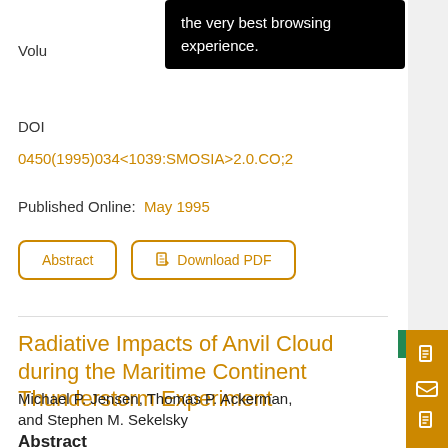the very best browsing experience.
Volu
DOI
0450(1995)034<1039:SMOSIA>2.0.CO;2
Published Online: May 1995
Abstract
Download PDF
Radiative Impacts of Anvil Clouds during the Maritime Continent Thunderstorm Experiment
Michael P. Jensen, Thomas P. Ackerman, and Stephen M. Sekelsky
Abstract